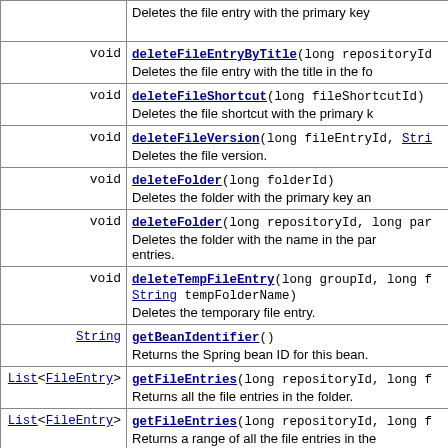| Type | Method/Description |
| --- | --- |
|  | Deletes the file entry with the primary key |
| void | deleteFileEntryByTitle(long repositoryId, ...) — Deletes the file entry with the title in the fo... |
| void | deleteFileShortcut(long fileShortcutId) — Deletes the file shortcut with the primary k... |
| void | deleteFileVersion(long fileEntryId, Str...) — Deletes the file version. |
| void | deleteFolder(long folderId) — Deletes the folder with the primary key an... |
| void | deleteFolder(long repositoryId, long par...) — Deletes the folder with the name in the par...entries. |
| void | deleteTempFileEntry(long groupId, long f..., String tempFolderName) — Deletes the temporary file entry. |
| String | getBeanIdentifier() — Returns the Spring bean ID for this bean. |
| List<FileEntry> | getFileEntries(long repositoryId, long f...) — Returns all the file entries in the folder. |
| List<FileEntry> | getFileEntries(long repositoryId, long f...) — Returns a range of all the file entries in the... |
| List<FileEntry> | getFileEntries(long repositoryId, long f...) |